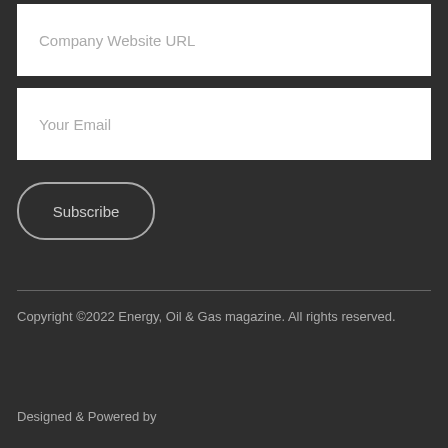Company Website URL
Your Email
Subscribe
Copyright ©2022 Energy, Oil & Gas magazine. All rights reserved.
Designed & Powered by